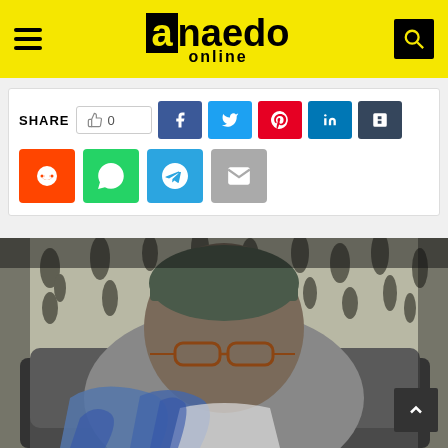a.naedo online
[Figure (screenshot): Social share bar with SHARE label, like button showing 0, and social media buttons: Facebook (blue), Twitter (cyan), Pinterest (red), LinkedIn (blue), Tumblr (dark blue), Reddit (orange), WhatsApp (green), Telegram (light blue), Email (grey)]
[Figure (photo): Black and white photograph of an elderly man wearing a traditional Nigerian cap and glasses, seated on a sofa with a blue garment draped over him, in front of a curtain with floral/leaf pattern]